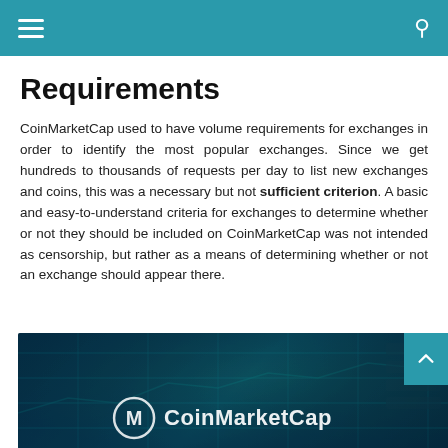CoinMarketCap navigation header
Requirements
CoinMarketCap used to have volume requirements for exchanges in order to identify the most popular exchanges. Since we get hundreds to thousands of requests per day to list new exchanges and coins, this was a necessary but not sufficient criterion. A basic and easy-to-understand criteria for exchanges to determine whether or not they should be included on CoinMarketCap was not intended as censorship, but rather as a means of determining whether or not an exchange should appear there.
[Figure (photo): CoinMarketCap logo on a dark blue/teal background with financial chart grid lines]